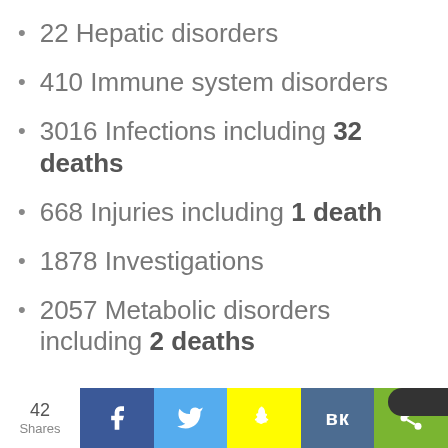22 Hepatic disorders
410 Immune system disorders
3016 Infections including 32 deaths
668 Injuries including 1 death
1878 Investigations
2057 Metabolic disorders including 2 deaths
42 Shares